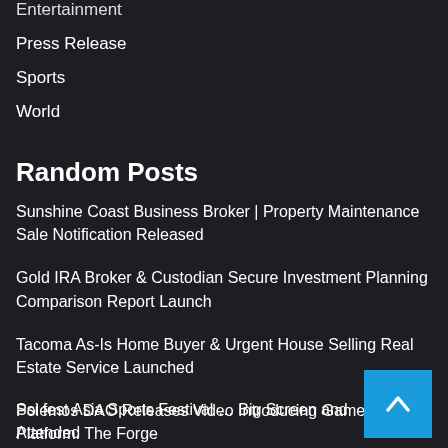Entertainment
Press Release
Sports
World
Random Posts
Sunshine Coast Business Broker | Property Maintenance Sale Notification Released
Gold IRA Broker & Custodian Secure Investment Planning Comparison Report Launch
Tacoma As-Is Home Buyer & Urgent House Selling Real Estate Service Launched
Polemos DAO Releases Video Introducing GameFi Platform: The Forge
Ssi fest Asia Sports Festival … Big Screen and Attended